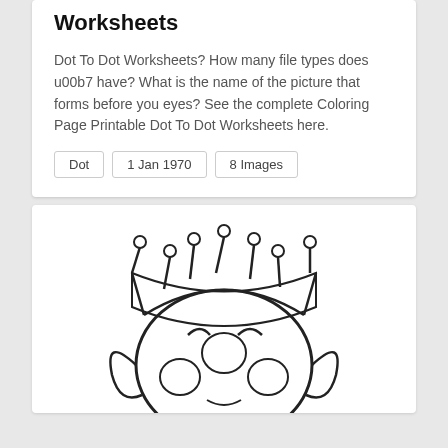Worksheets
Dot To Dot Worksheets? How many file types does u00b7 have? What is the name of the picture that forms before you eyes? See the complete Coloring Page Printable Dot To Dot Worksheets here.
Dot
1 Jan 1970
8 Images
[Figure (illustration): A coloring page illustration of a cartoon ladybug or creature wearing a crown, shown from the front, with circular spots on its body and antennae-like features on the crown.]